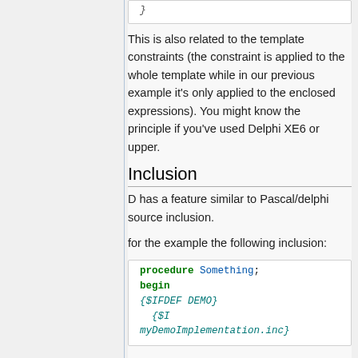[Figure (screenshot): Code snippet top partial showing closing brace of a code block]
This is also related to the template constraints (the constraint is applied to the whole template while in our previous example it's only applied to the enclosed expressions). You might know the principle if you've used Delphi XE6 or upper.
Inclusion
D has a feature similar to Pascal/delphi source inclusion.
for the example the following inclusion:
[Figure (screenshot): Code box showing: procedure Something; begin {$IFDEF DEMO} {$I myDemoImplementation.inc}]